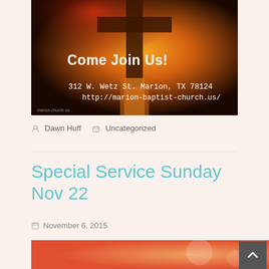[Figure (photo): Church promotional image with warm orange/brown tones showing a cross silhouette, text 'Come Join Us!' in white bold font, address '312 W. Wetz St. Marion, TX 78124' and URL 'http://marion-baptist-church.us/']
Dawn Huff   Uncategorized
Special Service Sunday Nov 22
November 6, 2015
[Figure (photo): Partial preview of next post image with orange/coral tones]